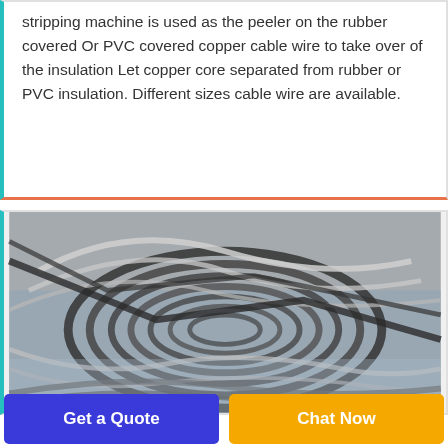stripping machine is used as the peeler on the rubber covered Or PVC covered copper cable wire to take over of the insulation Let copper core separated from rubber or PVC insulation. Different sizes cable wire are available.
[Figure (photo): Coiled rubber or PVC covered copper cable wire bundled together on a plastic sheet, showing multiple strands of flat and round cable]
Get a Quote
Chat Now